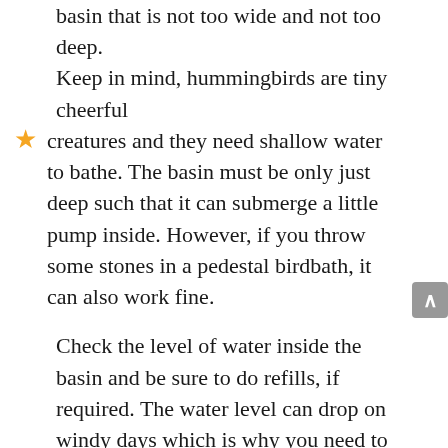basin that is not too wide and not too deep. Keep in mind, hummingbirds are tiny cheerful creatures and they need shallow water to bathe. The basin must be only just deep such that it can submerge a little pump inside. However, if you throw some stones in a pedestal birdbath, it can also work fine.
Check the level of water inside the basin and be sure to do refills, if required. The water level can drop on windy days which is why you need to take special care during these times. Also, keep an eye on the pump, and make sure it doesn't run dry. This pump must be connected to the solar panel with a cord,